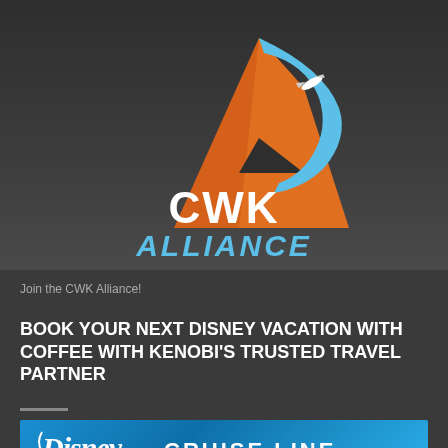[Figure (logo): CWK Alliance logo: orange letter A with a blue swoosh and small spacecraft, with 'CWK' in white bold text and 'ALLIANCE' in blue stylized text below, on a dark gray background]
Join the CWK Alliance!
BOOK YOUR NEXT DISNEY VACATION WITH COFFEE WITH KENOBI'S TRUSTED TRAVEL PARTNER
[Figure (logo): Disney Cruise Line logo banner on a blue background with stylized Disney wordmark and 'CRUISE LINE' in uppercase letters]